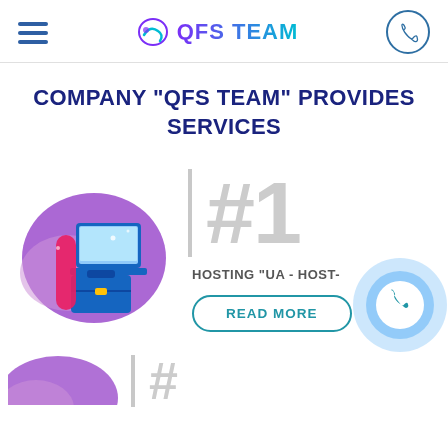QFS TEAM
COMPANY "QFS TEAM" PROVIDES SERVICES
[Figure (illustration): Purple blob shape with laptop, briefcase, and pink yoga mat illustration]
#1
HOSTING "UA - HOST-
READ MORE
[Figure (illustration): Partial purple illustration at bottom left, partially cropped]